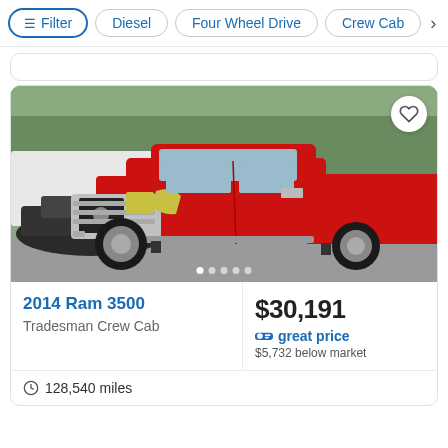Filter | Diesel | Four Wheel Drive | Crew Cab
[Figure (photo): Red 2014 Ram 3500 Tradesman Crew Cab truck photographed in a parking lot, front 3/4 view, with chrome grille and running boards visible.]
2014 Ram 3500
Tradesman Crew Cab
$30,191
great price
$5,732 below market
128,540 miles